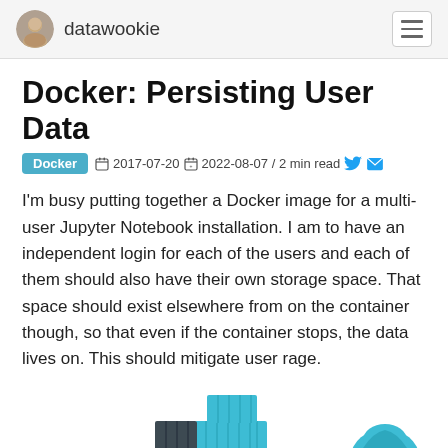datawookie
Docker: Persisting User Data
Docker  2017-07-20  2022-08-07 / 2 min read
I'm busy putting together a Docker image for a multi-user Jupyter Notebook installation. I am to have an independent login for each of the users and each of them should also have their own storage space. That space should exist elsewhere from on the container though, so that even if the container stops, the data lives on. This should mitigate user rage.
[Figure (illustration): Illustration of Docker containers as stacked blue and dark grey shipping containers, with a whale or rocket icon on the right side.]